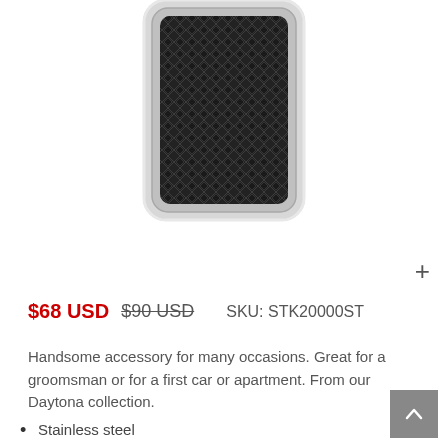[Figure (photo): Product photo of a stainless steel rectangular key tag/money clip with black textured diamond-pattern inlay, partially shown from the top of the page]
+
$68 USD  $90 USD    SKU: STK20000ST
Handsome accessory for many occasions. Great for a groomsman or for a first car or apartment. From our Daytona collection.
Stainless steel
Black textured inlay
Circle ring diameter .75 inch
Rectangular tag length 1.15 inches
Width .80 inch